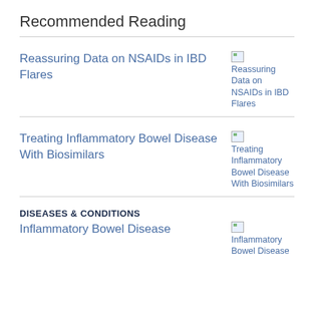Recommended Reading
Reassuring Data on NSAIDs in IBD Flares
Treating Inflammatory Bowel Disease With Biosimilars
DISEASES & CONDITIONS
Inflammatory Bowel Disease